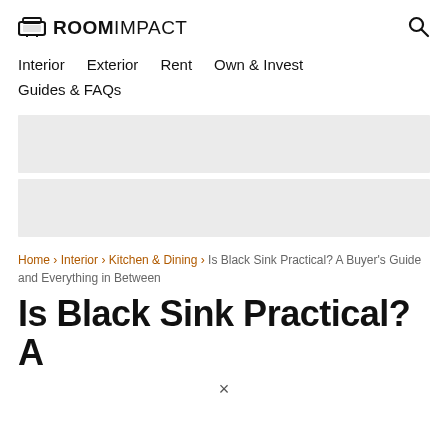ROOMIMPACT
Interior   Exterior   Rent   Own & Invest
Guides & FAQs
[Figure (other): Two gray advertisement placeholder blocks stacked vertically]
Home › Interior › Kitchen & Dining › Is Black Sink Practical? A Buyer's Guide and Everything in Between
Is Black Sink Practical? A